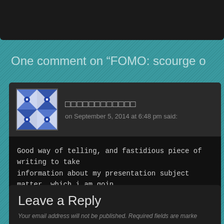One comment on "FOMO: scourge o
□□□□□□□□□□□□
on September 5, 2014 at 6:48 pm said:
Good way of telling, and fastidious piece of writing to take information about my presentation subject matter, which i am goin
★ Like
Leave a Reply
Your email address will not be published. Required fields are marke